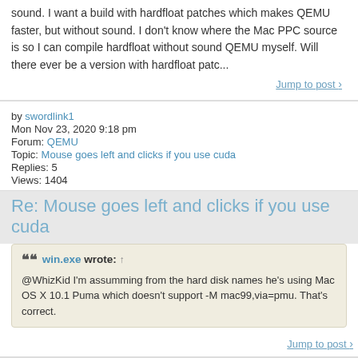sound. I want a build with hardfloat patches which makes QEMU faster, but without sound. I don't know where the Mac PPC source is so I can compile hardfloat without sound QEMU myself. Will there ever be a version with hardfloat patc...
Jump to post >
by swordlink1
Mon Nov 23, 2020 9:18 pm
Forum: QEMU
Topic: Mouse goes left and clicks if you use cuda
Replies: 5
Views: 1404
Re: Mouse goes left and clicks if you use cuda
win.exe wrote: ↑
@WhizKid I'm assumming from the hard disk names he's using Mac OS X 10.1 Puma which doesn't support -M mac99,via=pmu. That's correct.
Jump to post >
Search found 78 matches  1  2  3  4  >
Jump to